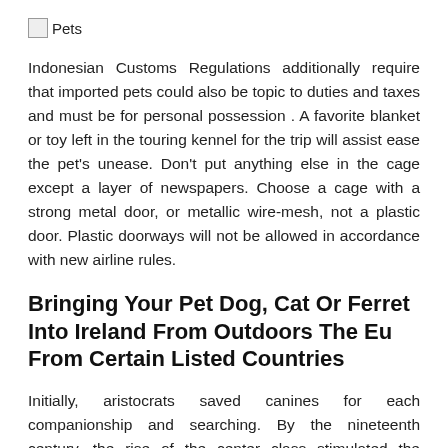[Figure (logo): Broken image icon followed by the text 'Pets']
Indonesian Customs Regulations additionally require that imported pets could also be topic to duties and taxes and must be for personal possession . A favorite blanket or toy left in the touring kennel for the trip will assist ease the pet's unease. Don't put anything else in the cage except a layer of newspapers. Choose a cage with a strong metal door, or metallic wire-mesh, not a plastic door. Plastic doorways will not be allowed in accordance with new airline rules.
Bringing Your Pet Dog, Cat Or Ferret Into Ireland From Outdoors The Eu From Certain Listed Countries
Initially, aristocrats saved canines for each companionship and searching. By the nineteenth century, the rise of the center class stimulated the development of pet keeping and